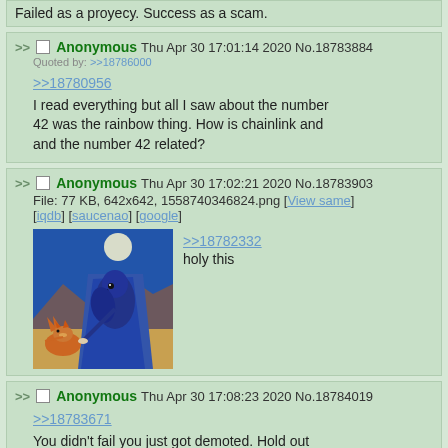Failed as a proyecy. Success as a scam.
Anonymous Thu Apr 30 17:01:14 2020 No.18783884
Quoted by: >>18786000
>>18780956
I read everything but all I saw about the number 42 was the rainbow thing. How is chainlink and and the number 42 related?
Anonymous Thu Apr 30 17:02:21 2020 No.18783903
File: 77 KB, 642x642, 1558740346824.png [View same] [iqdb] [saucenao] [google]
>>18782332
holy this
[Figure (illustration): Cartoon illustration of a fox/coyote sitting next to a large blue bird/raven figure under a moon, desert/mountain landscape background]
Anonymous Thu Apr 30 17:08:23 2020 No.18784019
>>18783671
You didn't fail you just got demoted. Hold out